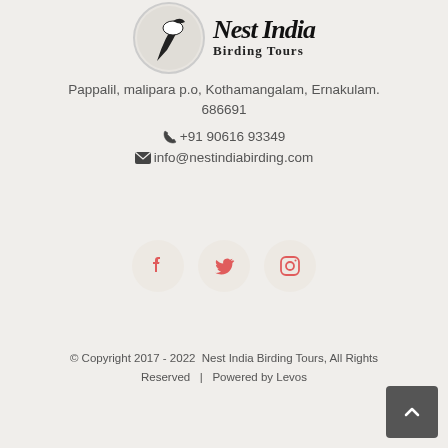[Figure (logo): Nest India Birding Tours logo with a bird silhouette in a circle and stylized 'Nest India' text with 'Birding Tours' subtitle]
Pappalil, malipara p.o, Kothamangalam, Ernakulam. 686691
+91 90616 93349
info@nestindiabirding.com
[Figure (illustration): Social media icons: Facebook, Twitter, Instagram in circular light grey buttons with coral/red icons]
© Copyright 2017 - 2022  Nest India Birding Tours, All Rights Reserved   |   Powered by Levos